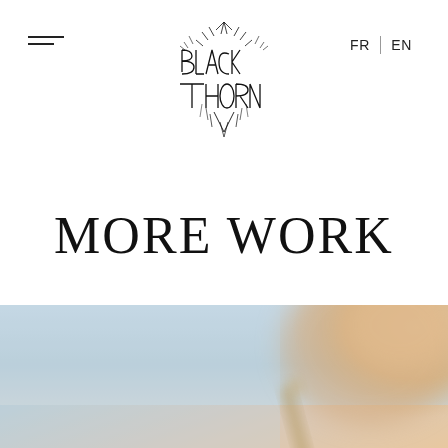Black Thorn logo, navigation with FR | EN
[Figure (logo): Black Thorn logo — decorative blackletter/metal font spelling Black Thorn with ornate spiky lines]
MORE WORK
[Figure (photo): Blurry outdoor photo with pale blue sky background and a warm-toned blurred object (possibly a hand holding a tool or pen) in the lower center-right area]